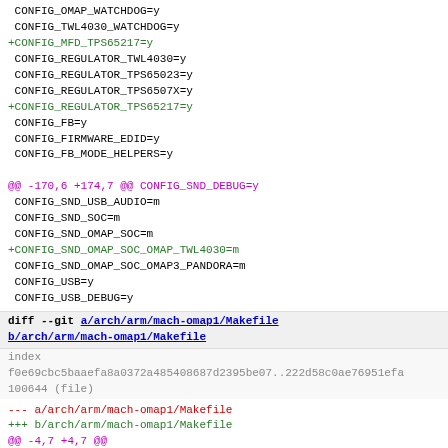CONFIG_OMAP_WATCHDOG=y
 CONFIG_TWL4030_WATCHDOG=y
+CONFIG_MFD_TPS65217=y
 CONFIG_REGULATOR_TWL4030=y
 CONFIG_REGULATOR_TPS65023=y
 CONFIG_REGULATOR_TPS6507X=y
+CONFIG_REGULATOR_TPS65217=y
 CONFIG_FB=y
 CONFIG_FIRMWARE_EDID=y
 CONFIG_FB_MODE_HELPERS=y
@@ -170,6 +174,7 @@ CONFIG_SND_DEBUG=y
 CONFIG_SND_USB_AUDIO=m
 CONFIG_SND_SOC=m
 CONFIG_SND_OMAP_SOC=m
+CONFIG_SND_OMAP_SOC_OMAP_TWL4030=m
 CONFIG_SND_OMAP_SOC_OMAP3_PANDORA=m
 CONFIG_USB=y
 CONFIG_USB_DEBUG=y
diff --git a/arch/arm/mach-omap1/Makefile b/arch/arm/mach-omap1/Makefile
index f0e69cbc5baaefa8a0372a485408687d2395be07..222d58c0ae76951efa
100644 (file)
--- a/arch/arm/mach-omap1/Makefile
+++ b/arch/arm/mach-omap1/Makefile
@@ -4,7 +4,7 @@
# Common support
 obj-y := io.o id.o sram-init.o sram.o time.o irq.o mux.o fl
-         serial.o devices.o dma.o